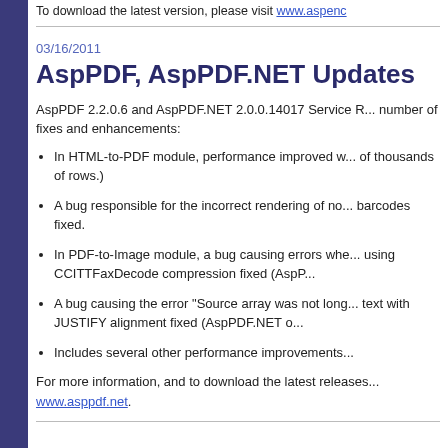To download the latest version, please visit www.aspen...
03/16/2011
AspPDF, AspPDF.NET Updates
AspPDF 2.2.0.6 and AspPDF.NET 2.0.0.14017 Service R... number of fixes and enhancements:
In HTML-to-PDF module, performance improved w... of thousands of rows.)
A bug responsible for the incorrect rendering of no... barcodes fixed.
In PDF-to-Image module, a bug causing errors whe... using CCITTFaxDecode compression fixed (AspP...
A bug causing the error "Source array was not long... text with JUSTIFY alignment fixed (AspPDF.NET o...
Includes several other performance improvements...
For more information, and to download the latest releases... www.asppdf.net.